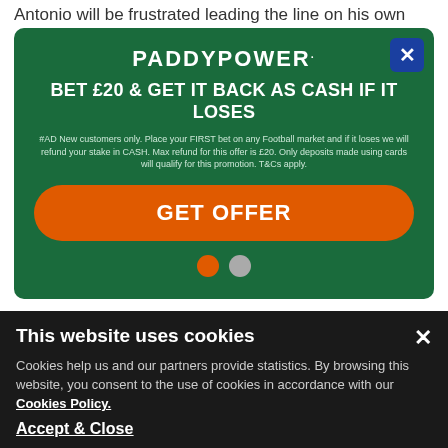Antonio will be frustrated leading the line on his own
[Figure (screenshot): Paddy Power advertisement modal: green background with logo, headline 'BET £20 & GET IT BACK AS CASH IF IT LOSES', terms text, and orange 'GET OFFER' button. Blue X close button in top right.]
As always I like to put something up at a fancy price for those who like longer odds shots and I've picked out two players who I think could well be carded in this London derby with the double weighing in at 50/1 with Paddy Power.
This website uses cookies
Cookies help us and our partners provide statistics. By browsing this website, you consent to the use of cookies in accordance with our Cookies Policy.
Accept & Close